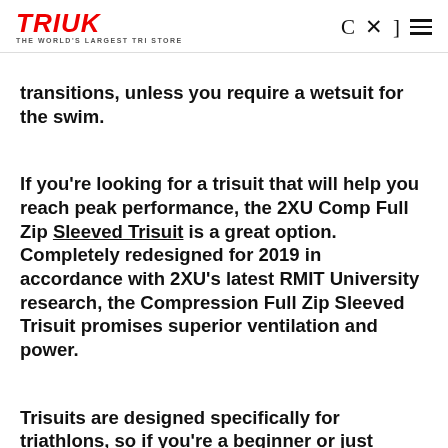TRIUK THE WORLD'S LARGEST TRI STORE
transitions, unless you require a wetsuit for the swim.
If you're looking for a trisuit that will help you reach peak performance, the 2XU Comp Full Zip Sleeved Trisuit is a great option. Completely redesigned for 2019 in accordance with 2XU's latest RMIT University research, the Compression Full Zip Sleeved Trisuit promises superior ventilation and power.
Trisuits are designed specifically for triathlons, so if you're a beginner or just looking to save your money...